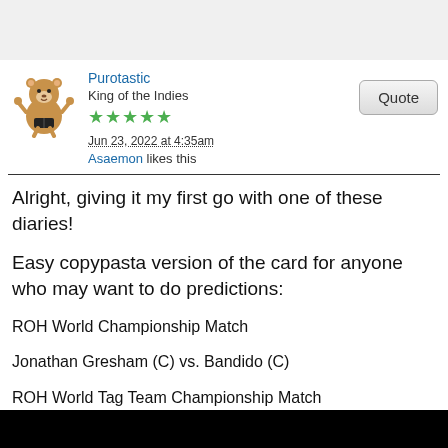[Figure (illustration): Forum post avatar: cartoon brown bear wearing wrestling trunks]
Purotastic
King of the Indies
★★★★★
Jun 23, 2022 at 4:35am
Asaemon likes this
Alright, giving it my first go with one of these diaries!
Easy copypasta version of the card for anyone who may want to do predictions:
ROH World Championship Match
Jonathan Gresham (C) vs. Bandido (C)
ROH World Tag Team Championship Match
The Briscoes (C) vs. FTR
ROH World Women's Championship Match
Deonna Purrazzo (C) vs. Athena
ROH Pure Championship Match